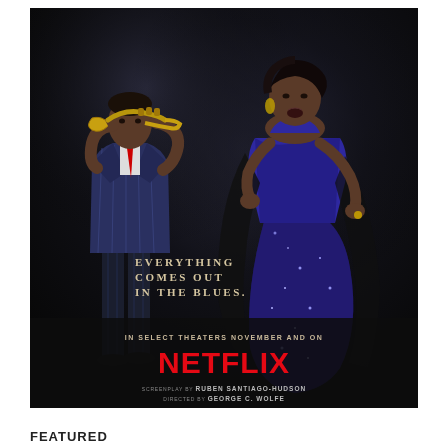[Figure (photo): Movie poster for a Netflix film. Dark background with two figures: a man in a pinstripe suit playing trumpet on the left, and a woman in a sparkly blue/purple gown on the right. Tagline reads 'EVERYTHING COMES OUT IN THE BLUES.' Text at bottom: 'IN SELECT THEATERS NOVEMBER AND ON NETFLIX. SCREENPLAY BY RUBEN SANTIAGO-HUDSON DIRECTED BY GEORGE C. WOLFE.']
FEATURED